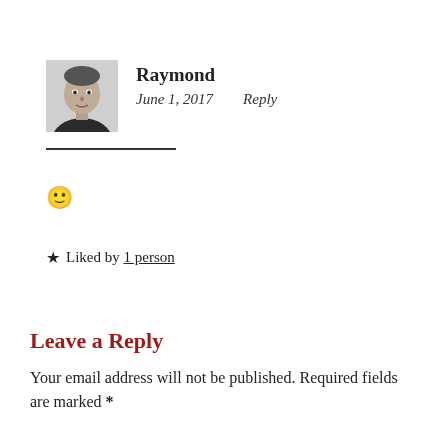[Figure (photo): Black and white profile photo of a man named Raymond]
Raymond
June 1, 2017   Reply
🙂
★ Liked by 1 person
Leave a Reply
Your email address will not be published. Required fields are marked *